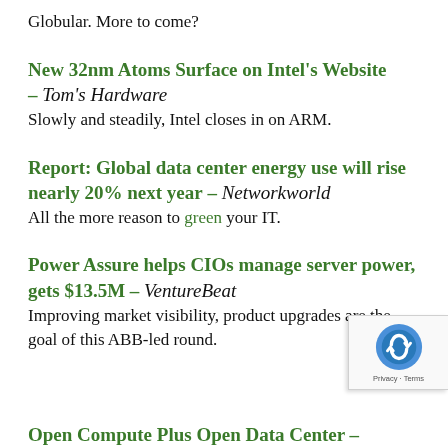Globular. More to come?
New 32nm Atoms Surface on Intel's Website – Tom's Hardware
Slowly and steadily, Intel closes in on ARM.
Report: Global data center energy use will rise nearly 20% next year – Networkworld
All the more reason to green your IT.
Power Assure helps CIOs manage server power, gets $13.5M – VentureBeat
Improving market visibility, product upgrades are the goal of this ABB-led round.
Open Compute Plus Open Data Center –